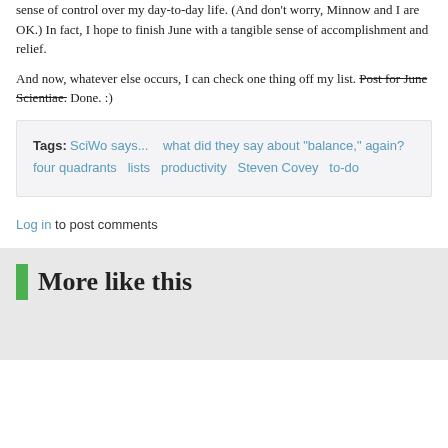sense of control over my day-to-day life. (And don't worry, Minnow and I are OK.) In fact, I hope to finish June with a tangible sense of accomplishment and relief.
And now, whatever else occurs, I can check one thing off my list. Post for June Scientiae. Done. :)
Tags: SciWo says...   what did they say about "balance," again?   four quadrants   lists   productivity   Steven Covey   to-do
Log in to post comments
More like this